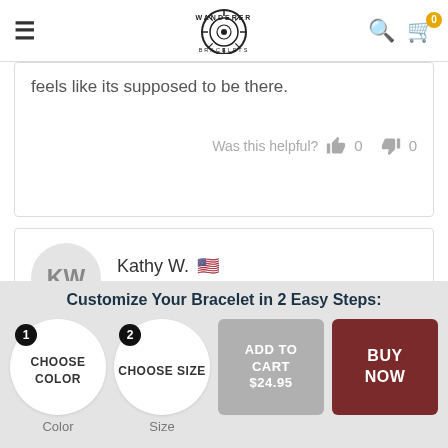Wanderer Bracelets
feels like its supposed to be there.
Was this helpful? 0 0
KW
Kathy W.
Verified Buyer
Reviewing
Customize Your Bracelet in 2 Easy Steps:
CHOOSE COLOR
Color
CHOOSE SIZE
Size
ADD TO CART $24.95
BUY NOW